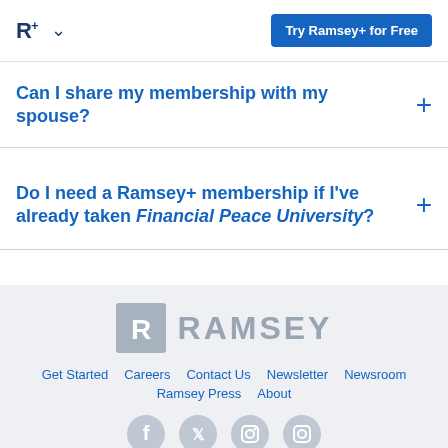R+ [chevron] Try Ramsey+ for Free
Can I share my membership with my spouse?
Do I need a Ramsey+ membership if I've already taken Financial Peace University?
[Figure (logo): Ramsey logo with boxed R icon and RAMSEY wordmark in gray]
Get Started
Careers
Contact Us
Newsletter
Newsroom
Ramsey Press
About
[Figure (illustration): Social media icons: Facebook, Twitter, Instagram, and one more, shown as gray circles with white icons at bottom of page]